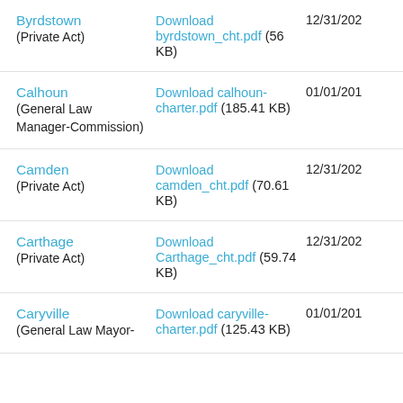Byrdstown (Private Act) | Download byrdstown_cht.pdf (56 KB) | 12/31/202
Calhoun (General Law Manager-Commission) | Download calhoun-charter.pdf (185.41 KB) | 01/01/201
Camden (Private Act) | Download camden_cht.pdf (70.61 KB) | 12/31/202
Carthage (Private Act) | Download Carthage_cht.pdf (59.74 KB) | 12/31/202
Caryville (General Law Mayor-Aldermanic) | Download caryville-charter.pdf (125.43 KB) | 01/01/201